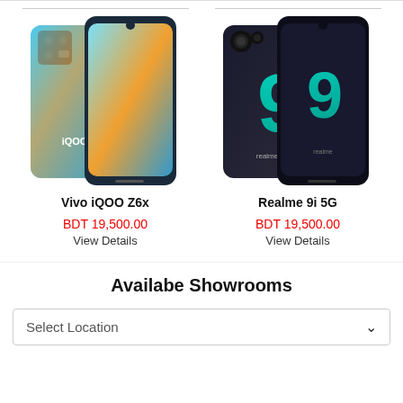[Figure (photo): Vivo iQOO Z6x smartphone product image showing front and back of blue phone]
[Figure (photo): Realme 9i 5G smartphone product image showing front and back of dark colored phone with large '9' branding]
Vivo iQOO Z6x
Realme 9i 5G
BDT 19,500.00
View Details
BDT 19,500.00
View Details
Availabe Showrooms
Select Location